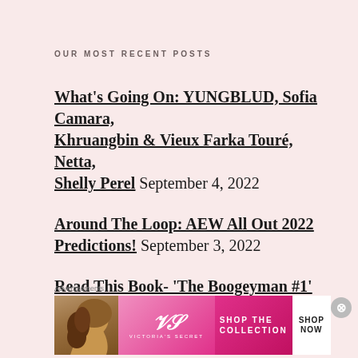OUR MOST RECENT POSTS
What's Going On: YUNGBLUD, Sofia Camara, Khruangbin & Vieux Farka Touré, Netta, Shelly Perel September 4, 2022
Around The Loop: AEW All Out 2022 Predictions! September 3, 2022
Read This Book- 'The Boogeyman #1' from ABLAZE Publishing September 2, 2022
Advertisements
[Figure (other): Victoria's Secret advertisement banner with model, VS logo, 'SHOP THE COLLECTION' text and 'SHOP NOW' button]